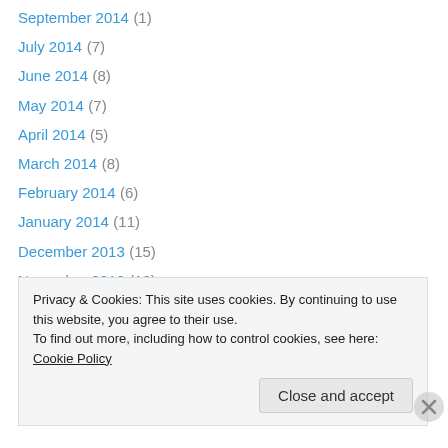September 2014 (1)
July 2014 (7)
June 2014 (8)
May 2014 (7)
April 2014 (5)
March 2014 (8)
February 2014 (6)
January 2014 (11)
December 2013 (15)
November 2013 (12)
October 2013 (3)
September 2013 (6)
August 2013 (4)
July 2013 (7)
Privacy & Cookies: This site uses cookies. By continuing to use this website, you agree to their use.
To find out more, including how to control cookies, see here: Cookie Policy